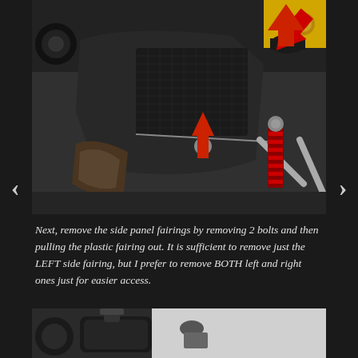[Figure (photo): Close-up photo of a motorcycle side panel fairing area showing black bodywork, mesh radiator cover, red coil spring shock absorber, and silver frame struts. Two red arrows point to bolts — one near the top handlebar area and one near the lower fairing mounting point.]
Next, remove the side panel fairings by removing 2 bolts and then pulling the plastic fairing out. It is sufficient to remove just the LEFT side fairing, but I prefer to remove BOTH left and right ones just for easier access.
[Figure (photo): Partial photo of motorcycle showing dark bodywork components, handlebars, and reservoir visible at the top of the frame.]